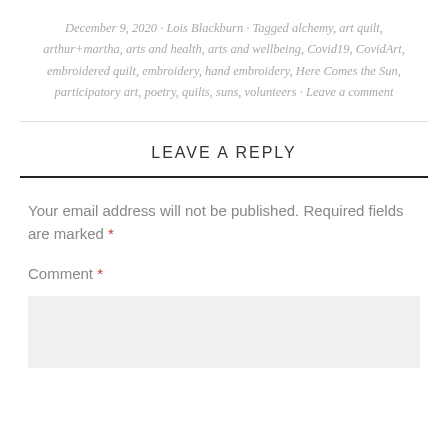December 9, 2020 · Lois Blackburn · Tagged alchemy, art quilt, arthur+martha, arts and health, arts and wellbeing, Covid19, CovidArt, embroidered quilt, embroidery, hand embroidery, Here Comes the Sun, participatory art, poetry, quilts, suns, volunteers · Leave a comment
LEAVE A REPLY
Your email address will not be published. Required fields are marked *
Comment *